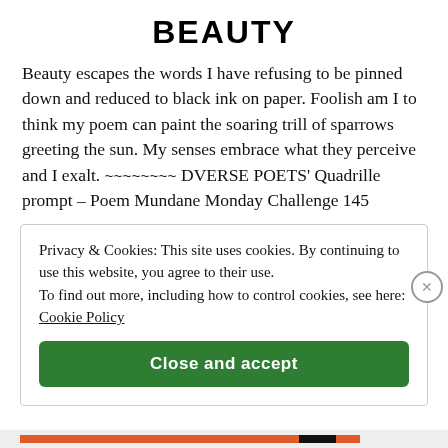BEAUTY
Beauty escapes the words I have refusing to be pinned down and reduced to black ink on paper. Foolish am I to think my poem can paint the soaring trill of sparrows greeting the sun. My senses embrace what they perceive and I exalt. ~~~~~~~~ DVERSE POETS' Quadrille prompt – Poem Mundane Monday Challenge 145
Privacy & Cookies: This site uses cookies. By continuing to use this website, you agree to their use.
To find out more, including how to control cookies, see here: Cookie Policy
Close and accept